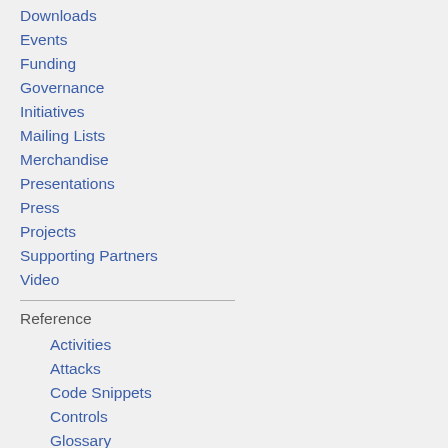Downloads
Events
Funding
Governance
Initiatives
Mailing Lists
Merchandise
Presentations
Press
Projects
Supporting Partners
Video
Reference
Activities
Attacks
Code Snippets
Controls
Glossary
How To...
Java Project
.NET Project
Principles
Technologies